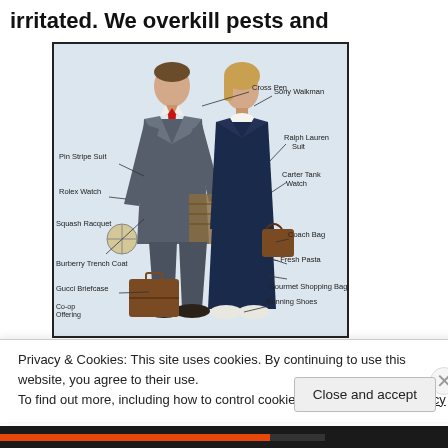irritated. We overkill pests and
[Figure (illustration): Vintage labeled illustration of a well-dressed couple (man in pin stripe suit, woman in Ralph Lauren suit) with labeled luxury accessories: Cross Pen, Sony Walkman, Pin Stripe Suit, Rolex Watch, Squash Racquet, Burberry Trench Coat, Gucci Briefcase, Co-op Offering, Ralph Lauren Suit, Carter Tank Watch, Coach Bag, Fresh Pasta, Gourmet Shopping Bag, Running Shoes]
Privacy & Cookies: This site uses cookies. By continuing to use this website, you agree to their use.
To find out more, including how to control cookies, see here: Cookie Policy